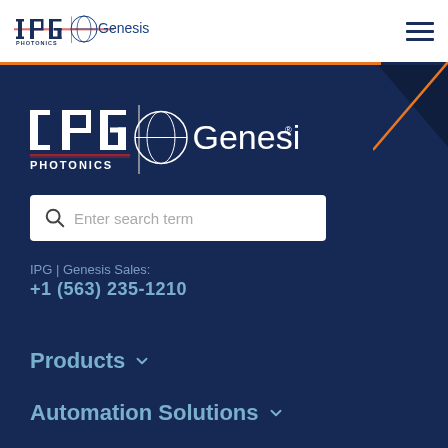[Figure (logo): IPG Photonics | Genesis logo in white header bar]
[Figure (logo): Hamburger menu icon (three horizontal lines) in top right of header]
[Figure (logo): Large IPG Photonics | Genesis logo on dark navy background]
Enter search term
IPG | Genesis Sales: +1 (563) 235-1210
Products
Automation Solutions